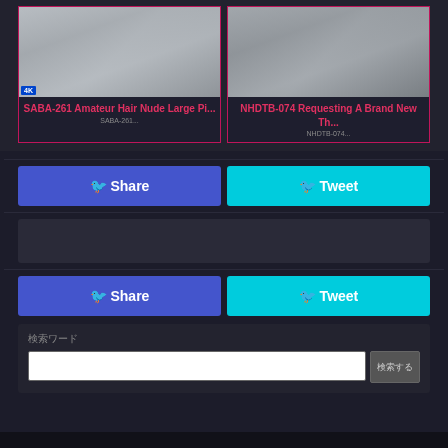[Figure (screenshot): Thumbnail image for SABA-261 Amateur Hair Nude Large Picture video]
SABA-261 Amateur Hair Nude Large Pi...
[Figure (screenshot): Thumbnail image for NHDTB-074 Requesting A Brand New Th... video]
NHDTB-074 Requesting A Brand New Th...
Share
Tweet
Share
Tweet
検索ワード
検索する